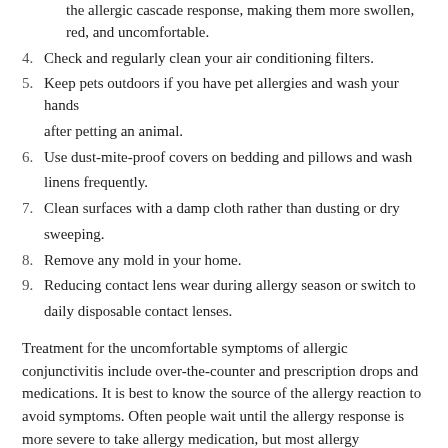(continuation) the allergic cascade response, making them more swollen, red, and uncomfortable.
4. Check and regularly clean your air conditioning filters.
5. Keep pets outdoors if you have pet allergies and wash your hands after petting an animal.
6. Use dust-mite-proof covers on bedding and pillows and wash linens frequently.
7. Clean surfaces with a damp cloth rather than dusting or dry sweeping.
8. Remove any mold in your home.
9. Reducing contact lens wear during allergy season or switch to daily disposable contact lenses.
Treatment for the uncomfortable symptoms of allergic conjunctivitis include over-the-counter and prescription drops and medications. It is best to know the source of the allergy reaction to avoid symptoms. Often people wait until the allergy response is more severe to take allergy medication, but most allergy medications work best when taken just prior to being exposed to the allergen. Consult your eye doctor about your symptoms and which treatment is best for you.
New prescription medications include: